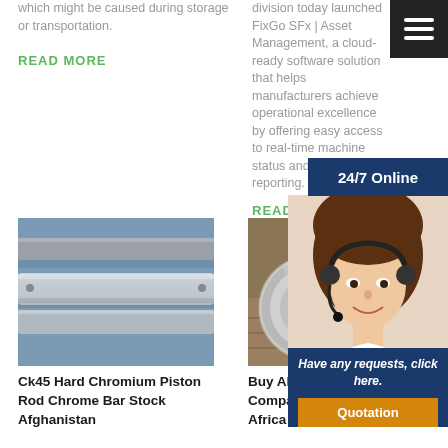which might be caused during storage or transportation.
READ MORE
division today launched FixGo SFx | Asset Management, a cloud-ready software solution that helps manufacturers achieve operational excellence by offering easy access to real-time machine status and utilisation reporting.
READ MORE
[Figure (other): Hamburger menu icon (three white lines on dark background)]
[Figure (other): 24/7 Online dark blue button]
[Figure (photo): Woman with headset smiling, customer service operator]
[Figure (other): Have any requests, click here. Quotation button overlay]
[Figure (photo): Ck45 Hard Chromium Piston Rod Chrome Bar Stock - metal cylindrical rods on warehouse shelving]
Ck45 Hard Chromium Piston Rod Chrome Bar Stock Afghanistan
[Figure (photo): Buy Aluminum Pneumatic Compact Cylinder Tube East Africa - polished aluminum cylinder tubes]
Buy Aluminum Pneumatic Compact Cylinder Tube East Africa